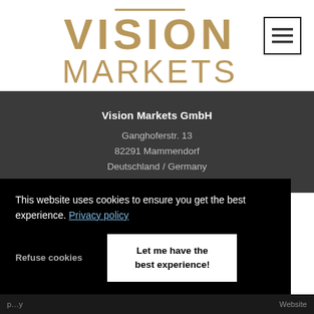[Figure (logo): Vision Markets GmbH logo in gold/tan color with horizontal bar above letter V]
[Figure (other): Hamburger menu button (three horizontal lines icon) in a square border]
Vision Markets GmbH
Ganghoferstr. 13
82291 Mammendorf
Deutschland / Germany
This website uses cookies to ensure you get the best experience. Privacy policy
Refuse cookies
Let me have the best experience!
Website